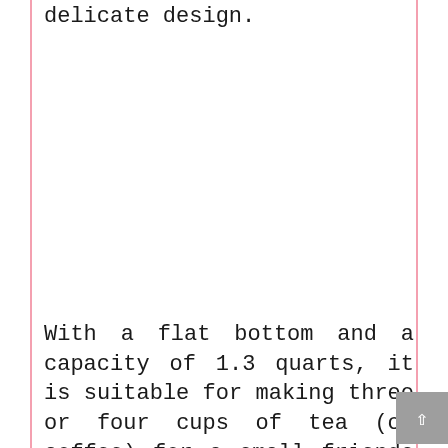delicate design.
With a flat bottom and a capacity of 1.3 quarts, it is suitable for making three or four cups of tea (or coffee) for a small friends gathering. Its small capacity